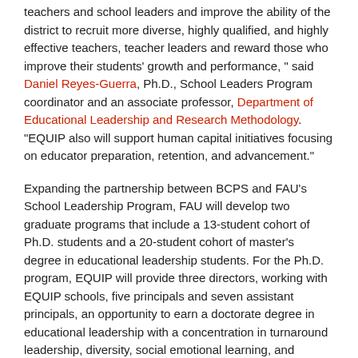teachers and school leaders and improve the ability of the district to recruit more diverse, highly qualified, and highly effective teachers, teacher leaders and reward those who improve their students' growth and performance, " said Daniel Reyes-Guerra, Ph.D., School Leaders Program coordinator and an associate professor, Department of Educational Leadership and Research Methodology. "EQUIP also will support human capital initiatives focusing on educator preparation, retention, and advancement."
Expanding the partnership between BCPS and FAU's School Leadership Program, FAU will develop two graduate programs that include a 13-student cohort of Ph.D. students and a 20-student cohort of master's degree in educational leadership students. For the Ph.D. program, EQUIP will provide three directors, working with EQUIP schools, five principals and seven assistant principals, an opportunity to earn a doctorate degree in educational leadership with a concentration in turnaround leadership, diversity, social emotional learning, and equitable leadership. This program will provide broad research and practice-based experiences that allow educational leaders to bring many different perspectives to bear on the